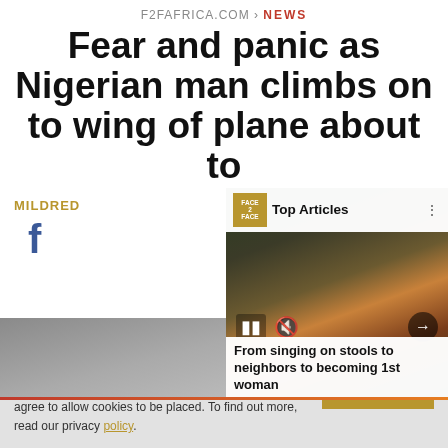F2FAFRICA.COM > NEWS
Fear and panic as Nigerian man climbs on to wing of plane about to
[Figure (screenshot): Screenshot of a news article page with a video overlay popup showing 'Top Articles' from Face2Face Africa, featuring a woman in colorful attire surrounded by tropical foliage. Media controls visible. Caption reads 'From singing on stools to neighbors to becoming 1st woman'. Left side shows 'MILDRED' label and Facebook icon. Bottom shows image strip.]
We use cookies to collect and analyse information on site performance and usage, and to enhance and customise content and advertisements. By Clicking "Accept" or by clicking into any content on this site, you agree to allow cookies to be placed. To find out more, read our privacy policy.